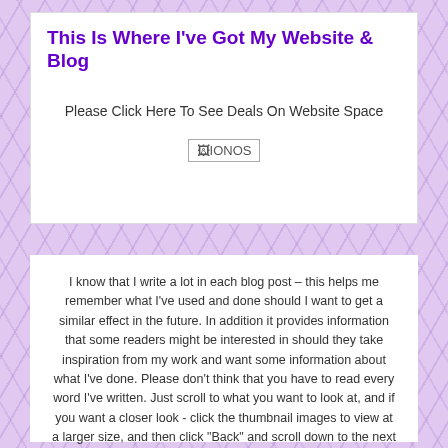This Is Where I've Got My Website & Blog
Please Click Here To See Deals On Website Space
[Figure (logo): IONOS logo placeholder image]
I know that I write a lot in each blog post – this helps me remember what I've used and done should I want to get a similar effect in the future. In addition it provides information that some readers might be interested in should they take inspiration from my work and want some information about what I've done. Please don't think that you have to read every word I've written. Just scroll to what you want to look at, and if you want a closer look - click the thumbnail images to view at a larger size, and then click "Back" and scroll down to the next section.